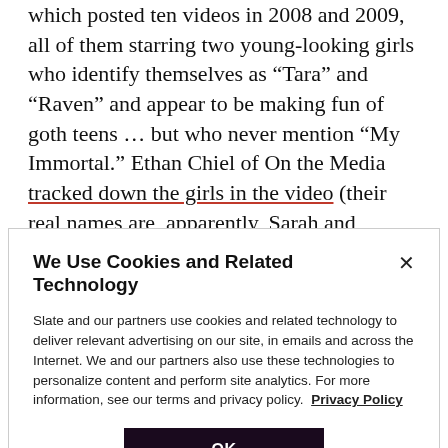which posted ten videos in 2008 and 2009, all of them starring two young-looking girls who identify themselves as “Tara” and “Raven” and appear to be making fun of goth teens … but who never mention “My Immortal.” Ethan Chiel of On the Media tracked down the girls in the video (their real names are, apparently, Sarah and Rachel), and they claimed to have nothing to do with the story, saying they hadn’t even heard of it until after they made the videos. (That doesn’t explain
We Use Cookies and Related Technology
Slate and our partners use cookies and related technology to deliver relevant advertising on our site, in emails and across the Internet. We and our partners also use these technologies to personalize content and perform site analytics. For more information, see our terms and privacy policy. Privacy Policy
OK